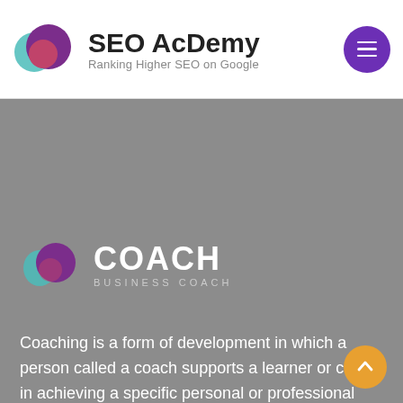[Figure (logo): SEO AcDemy logo with two overlapping circles (teal and purple) and text 'SEO AcDemy' with subtitle 'Ranking Higher SEO on Google']
[Figure (logo): Coach Business Coach logo with overlapping circles (teal and purple) and large text 'COACH' with subtitle 'BUSINESS COACH']
Coaching is a form of development in which a person called a coach supports a learner or client in achieving a specific personal or professional goal by providing training and guidance. The learner is sometimes called a coachee.